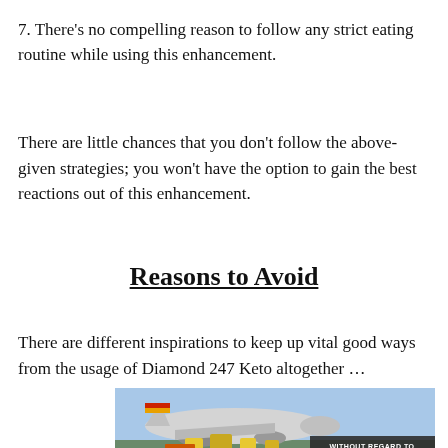7. There's no compelling reason to follow any strict eating routine while using this enhancement.
There are little chances that you don't follow the above-given strategies; you won't have the option to gain the best reactions out of this enhancement.
Reasons to Avoid
There are different inspirations to keep up vital good ways from the usage of Diamond 247 Keto altogether …
[Figure (photo): Advertisement banner showing cargo aircraft being loaded, with overlay text 'WITHOUT REGARD TO POLITICS, RELIGION, OR HEALTH ISSUES']